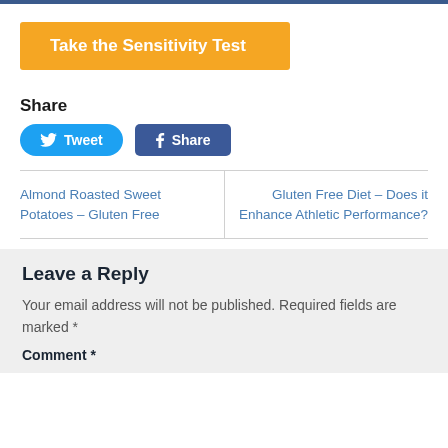[Figure (other): Orange button with white bold text: Take the Sensitivity Test]
Share
[Figure (other): Tweet button (blue rounded) and Share button (Facebook dark blue)]
Almond Roasted Sweet Potatoes – Gluten Free
Gluten Free Diet – Does it Enhance Athletic Performance?
Leave a Reply
Your email address will not be published. Required fields are marked *
Comment *